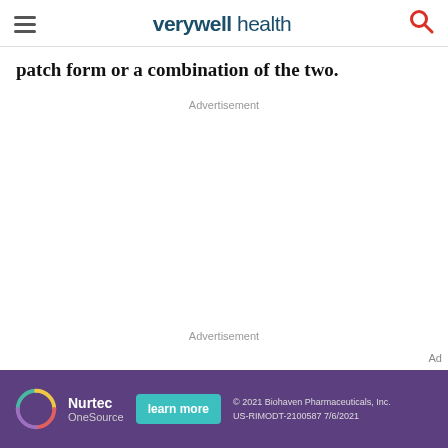verywell health
patch form or a combination of the two.
Advertisement
Advertisement
[Figure (other): Nurtec OneSource advertisement banner with teal learn more button and Biohaven Pharmaceuticals copyright notice]